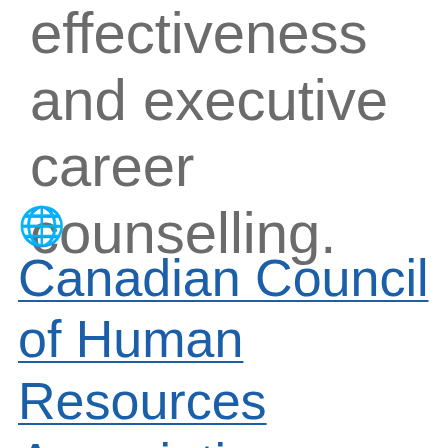effectiveness and executive career counselling.
🌐 Canadian Council of Human Resources Associations (CCHRA)